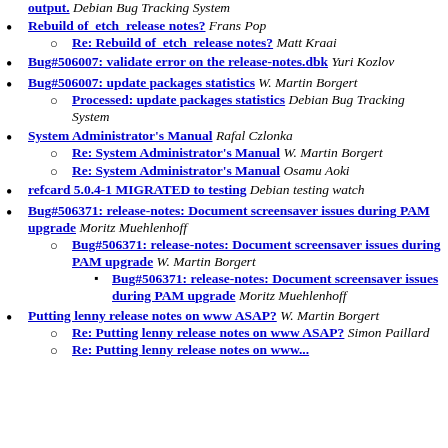output. Debian Bug Tracking System
Rebuild of etch release notes? Frans Pop
Re: Rebuild of etch release notes? Matt Kraai
Bug#506007: validate error on the release-notes.dbk Yuri Kozlov
Bug#506007: update packages statistics W. Martin Borgert
Processed: update packages statistics Debian Bug Tracking System
System Administrator's Manual Rafal Czlonka
Re: System Administrator's Manual W. Martin Borgert
Re: System Administrator's Manual Osamu Aoki
refcard 5.0.4-1 MIGRATED to testing Debian testing watch
Bug#506371: release-notes: Document screensaver issues during PAM upgrade Moritz Muehlenhoff
Bug#506371: release-notes: Document screensaver issues during PAM upgrade W. Martin Borgert
Bug#506371: release-notes: Document screensaver issues during PAM upgrade Moritz Muehlenhoff
Putting lenny release notes on www ASAP? W. Martin Borgert
Re: Putting lenny release notes on www ASAP? Simon Paillard
Re: Putting lenny release notes on www...